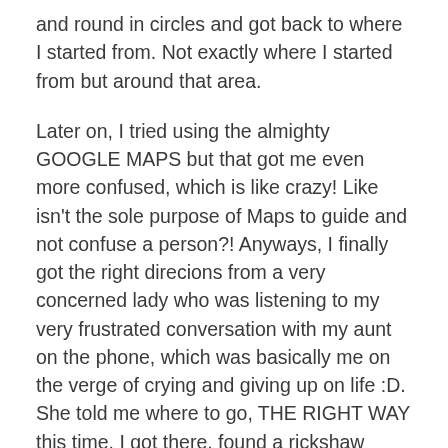and round in circles and got back to where I started from. Not exactly where I started from but around that area.
Later on, I tried using the almighty GOOGLE MAPS but that got me even more confused, which is like crazy! Like isn't the sole purpose of Maps to guide and not confuse a person?! Anyways, I finally got the right direcions from a very concerned lady who was listening to my very frustrated conversation with my aunt on the phone, which was basically me on the verge of crying and giving up on life :D. She told me where to go, THE RIGHT WAY this time. I got there, found a rickshaw going to where I was going and got to work..........at 11:15am! I know, yikesssss. Fortunately, I got pardoned cause I'm a newbie and I'm not familiar with the area but still, that experience was LIFE CHANGING. I mean like in a horrible way. It